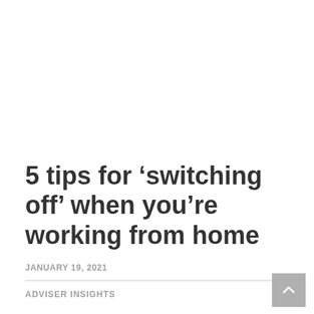5 tips for ‘switching off’ when you’re working from home
JANUARY 19, 2021
ADVISER INSIGHTS